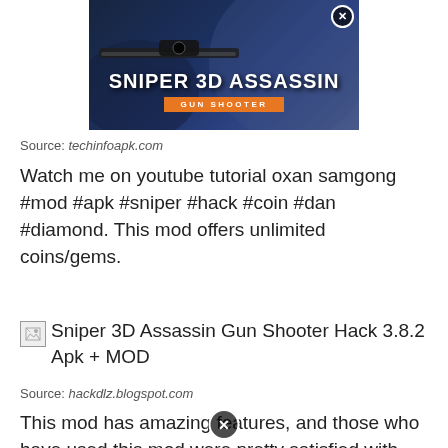[Figure (illustration): Sniper 3D Assassin Gun Shooter game advertisement image with a sniper holding a rifle, text overlay showing 'SNIPER 3D ASSASSIN' and 'GUN SHOOTER' on orange banner, close button circle top right]
Source: techinfoapk.com
Watch me on youtube tutorial oxan samgong #mod #apk #sniper #hack #coin #dan #diamond. This mod offers unlimited coins/gems.
[Figure (illustration): Broken image placeholder for Sniper 3D Assassin Gun Shooter Hack 3.8.2 Apk + MOD]
Source: hackdlz.blogspot.com
This mod has amazing features, and those who have used this mod were pretty satisfied with this pg3d mod apk. You can also get unlimited ammo during the mission in the mod application of this